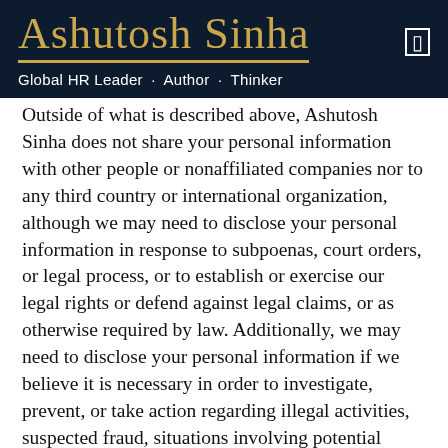[Figure (logo): Ashutosh Sinha signature logo in gold cursive on dark navy background with underline, and tagline 'Global HR Leader · Author · Thinker' in white below]
Outside of what is described above, Ashutosh Sinha does not share your personal information with other people or nonaffiliated companies nor to any third country or international organization, although we may need to disclose your personal information in response to subpoenas, court orders, or legal process, or to establish or exercise our legal rights or defend against legal claims, or as otherwise required by law. Additionally, we may need to disclose your personal information if we believe it is necessary in order to investigate, prevent, or take action regarding illegal activities, suspected fraud, situations involving potential threats to the physical safety of any person, or violations of our production and distribution agreement. Lastly, we would need to share your personal information in the event Ashutosh Sinha is acquired by or merged with another company.